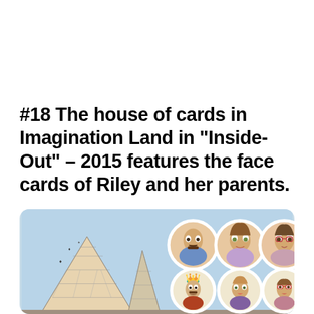#18 The house of cards in Imagination Land in “Inside-Out” – 2015 features the face cards of Riley and her parents.
[Figure (illustration): Scene from Pixar's Inside-Out (2015) showing a triangular house of cards structure built from playing cards on the left, and six circular portrait medallions on the right showing the animated characters of Riley, her father, and her mother — both as 3D animated versions (top row) and as playing card face illustrations (bottom row).]